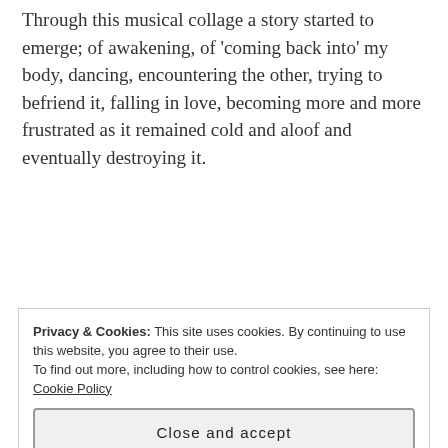Through this musical collage a story started to emerge; of awakening, of 'coming back into' my body, dancing, encountering the other, trying to befriend it, falling in love, becoming more and more frustrated as it remained cold and aloof and eventually destroying it.
[Figure (other): Advertisement banner for Pocket Casts app — red background with white bold text 'An app by listeners, for listeners' and a book graphic with 'Dis-trib-uted' text, plus Pocket Casts logo]
Privacy & Cookies: This site uses cookies. By continuing to use this website, you agree to their use.
To find out more, including how to control cookies, see here: Cookie Policy
Close and accept